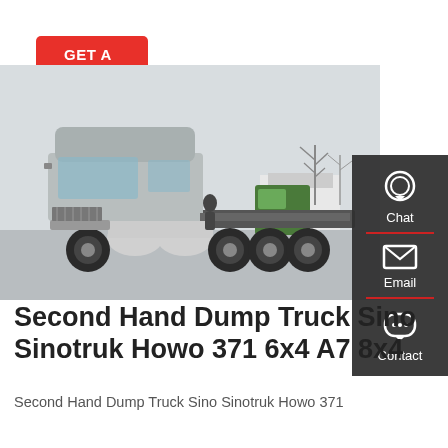GET A QUOTE
[Figure (photo): Side view of a silver Second Hand Dump Truck Sino Sinotruk Howo 371 tractor unit in a truck yard, with bare trees and other trucks in background. Semi-cab-over design with large fuel tanks visible. Dark sidebar on right with Chat, Email, Contact icons.]
Second Hand Dump Truck Sino Sinotruk Howo 371 6x4 A7 8x4
Second Hand Dump Truck Sino Sinotruk Howo 371